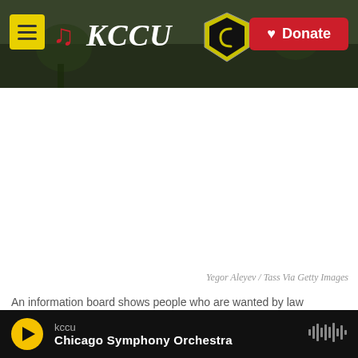KCCU — Donate
Yegor Aleyev / Tass Via Getty Images
An information board shows people who are wanted by law enforcement on suspicion of assaulting federal officers at the U.S. Capitol during the Jan. 6 riot.
As rioters made their way through the U.S. Capitol
kccu — Chicago Symphony Orchestra